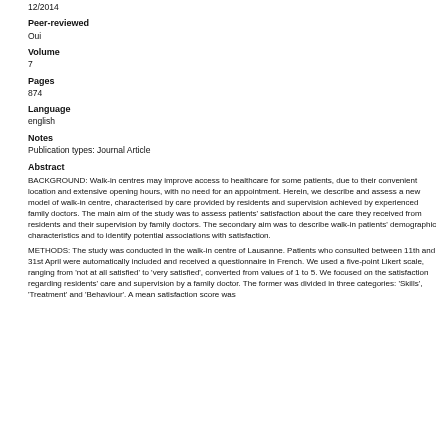12/2014
Peer-reviewed
Oui
Volume
7
Pages
874
Language
english
Notes
Publication types: Journal Article
Abstract
BACKGROUND: Walk-in centres may improve access to healthcare for some patients, due to their convenient location and extensive opening hours, with no need for an appointment. Herein, we describe and assess a new model of walk-in centre, characterised by care provided by residents and supervision achieved by experienced family doctors. The main aim of the study was to assess patients' satisfaction about the care they received from residents and their supervision by family doctors. The secondary aim was to describe walk-in patients' demographic characteristics and to identify potential associations with satisfaction.
METHODS: The study was conducted in the walk-in centre of Lausanne. Patients who consulted between 11th and 31st April were automatically included and received a questionnaire in French. We used a five-point Likert scale, ranging from 'not at all satisfied' to 'very satisfied', converted from values of 1 to 5. We focused on the satisfaction regarding residents' care and supervision by a family doctor. The former was divided in three categories: 'Skills', 'Treatment' and 'Behaviour'. A mean satisfaction score was